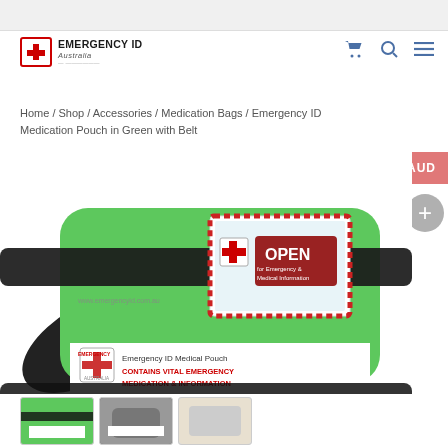[Figure (logo): Emergency ID Australia logo with red cross and text]
Home / Shop / Accessories / Medication Bags / Emergency ID Medication Pouch in Green with Belt
[Figure (photo): Green Emergency ID Medical Pouch with black belt/strap. The pouch has a white label reading 'Emergency ID Medical Pouch CONTAINS VITAL EMERGENCY MEDICATION & INFORMATION' and a front label showing 'OPEN for Emergency & Medical Information' with red and white Emergency ID Australia branding.]
[Figure (photo): Thumbnail images of medication pouch variants at bottom of page]